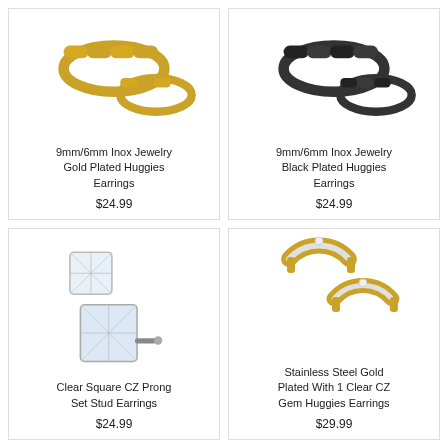[Figure (photo): 9mm/6mm Inox Jewelry Gold Plated Huggies Earrings - gold chain-style earrings on white background]
9mm/6mm Inox Jewelry Gold Plated Huggies Earrings
$24.99
[Figure (photo): 9mm/6mm Inox Jewelry Black Plated Huggies Earrings - black chain-style earrings on white background]
9mm/6mm Inox Jewelry Black Plated Huggies Earrings
$24.99
[Figure (photo): Clear Square CZ Prong Set Stud Earrings - two crystal square stud earrings on white background]
Clear Square CZ Prong Set Stud Earrings
$24.99
[Figure (photo): Stainless Steel Gold Plated With 1 Clear CZ Gem Huggies Earrings - gold and silver huggie earrings on white background]
Stainless Steel Gold Plated With 1 Clear CZ Gem Huggies Earrings
$29.99